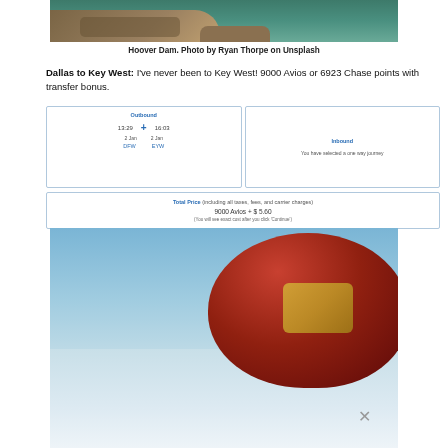[Figure (photo): Aerial photo of Hoover Dam area with turquoise water and rocky terrain]
Hoover Dam. Photo by Ryan Thorpe on Unsplash
Dallas to Key West: I've never been to Key West! 9000 Avios or 6923 Chase points with transfer bonus.
[Figure (screenshot): British Airways booking screenshot showing Outbound flight DFW to EYW, 13:29 to 16:03 on 2 Jan, and Inbound panel showing 'You have selected a one way journey']
[Figure (screenshot): Total Price box: 9000 Avios + $5.60 (You will see exact cost after you click Continue)]
[Figure (photo): Photo of a red fez hat with gold emblem against a blue sky background, with a close/X button overlay]